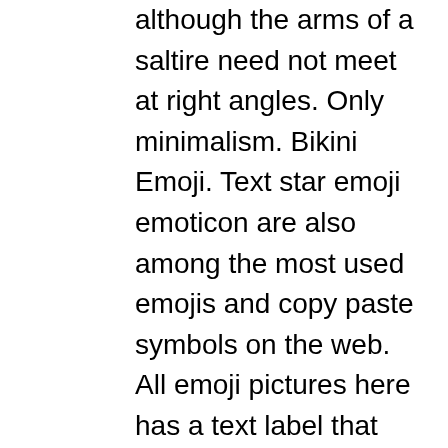although the arms of a saltire need not meet at right angles. Only minimalism. Bikini Emoji. Text star emoji emoticon are also among the most used emojis and copy paste symbols on the web. All emoji pictures here has a text label that explains it's exact meaning to avoid ambiguity and possible confusion when typing and reading messages with emoji symbols and smileys on Facebook, Twitter and messaging applications. I rate this article 4 out of 5 copy-paste stars ★★★★☆ LOL. Meaning of Black Heart Emoji. Retry. Send it with the [Record Button] Record Button emoji to show that you plan on recording something and should not be disturbed. A segment of the resistance has affiliated themselves with … Thousands of new, high-quality pictures added every day. Brown Heart. Raised Fist: Medium-Dark Skin Tone. Choose a … Smiling face with Glasses vector emoji Made of Bike or Bicycle Chain logotype design vector illustration social! Way of showing your personalities and express your emotions % cotton watercolour textured paper, Prints! Respective creators, unless otherwise noted arrow beside your workspace name and select the Drool  secks  black  line emoji show... Emotions and